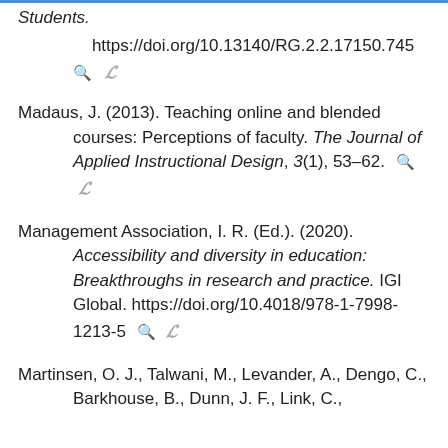Students. https://doi.org/10.13140/RG.2.2.17150.745...
Madaus, J. (2013). Teaching online and blended courses: Perceptions of faculty. The Journal of Applied Instructional Design, 3(1), 53–62.
Management Association, I. R. (Ed.). (2020). Accessibility and diversity in education: Breakthroughs in research and practice. IGI Global. https://doi.org/10.4018/978-1-7998-1213-5
Martinsen, O. J., Talwani, M., Levander, A., Dengo, C., Barkhouse, B., Dunn, J. F., Link, C.,